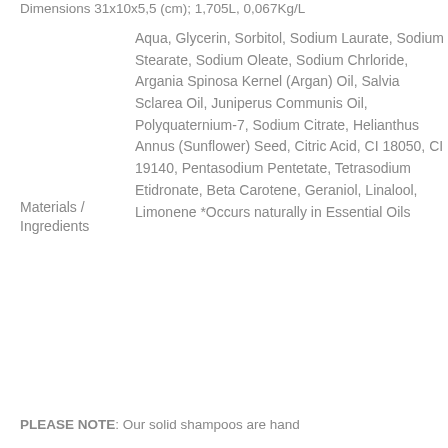Dimensions 31x10x5,5 (cm); 1,705L, 0,067Kg/L
|  |  |
| --- | --- |
| Materials / Ingredients | Aqua, Glycerin, Sorbitol, Sodium Laurate, Sodium Stearate, Sodium Oleate, Sodium Chrloride, Argania Spinosa Kernel (Argan) Oil, Salvia Sclarea Oil, Juniperus Communis Oil, Polyquaternium-7, Sodium Citrate, Helianthus Annus (Sunflower) Seed, Citric Acid, CI 18050, CI 19140, Pentasodium Pentetate, Tetrasodium Etidronate, Beta Carotene, Geraniol, Linalool, Limonene *Occurs naturally in Essential Oils |
PLEASE NOTE: Our solid shampoos are hand